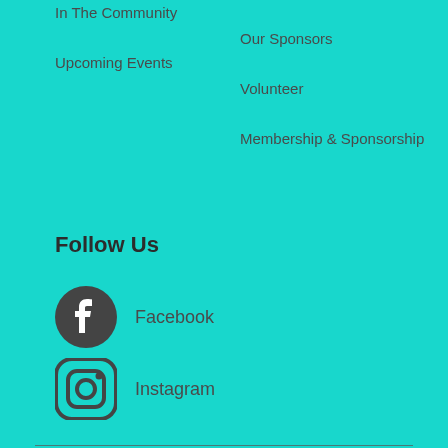In The Community
Upcoming Events
Our Sponsors
Volunteer
Membership & Sponsorship
Follow Us
Facebook
Instagram
[Figure (logo): KAPN logo with colorful K symbol and KAPN text]
Copyright 2020 © All rights Reserved. Design by Bluelime Communication.